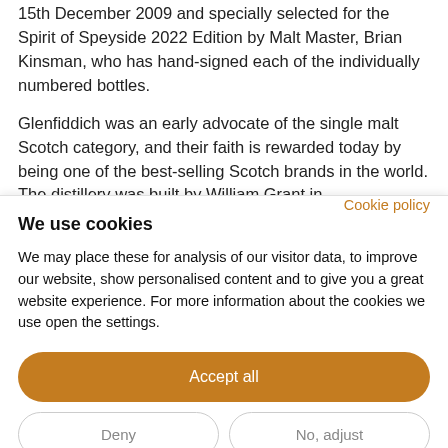15th December 2009 and specially selected for the Spirit of Speyside 2022 Edition by Malt Master, Brian Kinsman, who has hand-signed each of the individually numbered bottles.
Glenfiddich was an early advocate of the single malt Scotch category, and their faith is rewarded today by being one of the best-selling Scotch brands in the world. The distillery was built by William Grant in
Cookie policy
We use cookies
We may place these for analysis of our visitor data, to improve our website, show personalised content and to give you a great website experience. For more information about the cookies we use open the settings.
Accept all
Deny
No, adjust